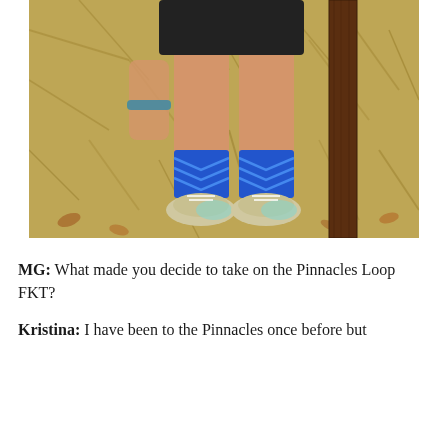[Figure (photo): A person wearing black shorts, blue chevron-patterned socks, and trail running shoes, standing/leaning against a brown wooden trail sign post. The background is dry golden grass and fallen leaves.]
MG: What made you decide to take on the Pinnacles Loop FKT?
Kristina: I have been to the Pinnacles once before but